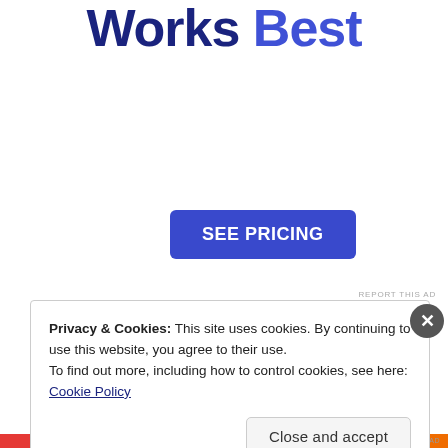Works Best
[Figure (other): SEE PRICING button — blue rounded rectangle with white bold uppercase text]
REPORT THIS AD
Privacy & Cookies: This site uses cookies. By continuing to use this website, you agree to their use.
To find out more, including how to control cookies, see here: Cookie Policy
Close and accept